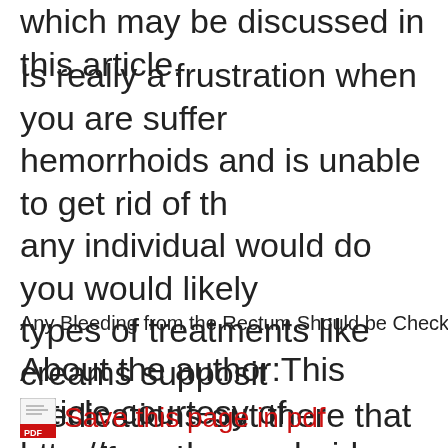which may be discussed in this article.
Is really a frustration when you are suffering hemorrhoids and is unable to get rid of th... any individual would do you would likely types of treatments like creams suppositories medications out there that are offered and market as a cure for hemorrhoids.
Any Bleeding from the Rectum Should be Checked b...
About the author:This article courtesy of http://www.hemorrhoid-questions.com.
Save this page in pdf